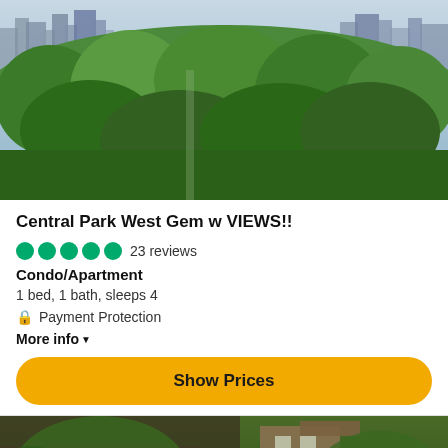[Figure (photo): Aerial view of Central Park with dense green trees and NYC skyline in the background]
Central Park West Gem w VIEWS!!
23 reviews
Condo/Apartment
1 bed, 1 bath, sleeps 4
Payment Protection
More info
Show Prices
[Figure (photo): Garden/backyard scene with lush greenery and a wooden structure]